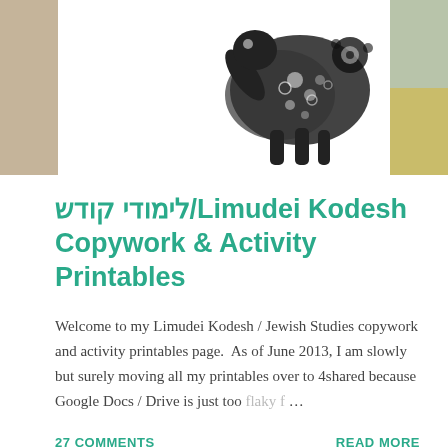[Figure (illustration): Decorative header image with tan, sage green, and olive colored side panels framing a white center area with a black illustrated figure (appears to be an animal with decorative floral patterns)]
לימודי קודש/Limudei Kodesh Copywork & Activity Printables
Welcome to my Limudei Kodesh / Jewish Studies copywork and activity printables page.  As of June 2013, I am slowly but surely moving all my printables over to 4shared because Google Docs / Drive is just too flaky f …
27 COMMENTS
READ MORE